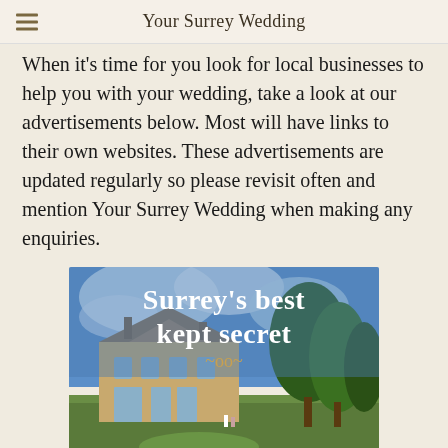Your Surrey Wedding
When it's time for you look for local businesses to help you with your wedding, take a look at our advertisements below. Most will have links to their own websites. These advertisements are updated regularly so please revisit often and mention Your Surrey Wedding when making any enquiries.
[Figure (photo): Advertisement image for a Surrey wedding venue showing a large stone manor house with green trees and lawn, with text overlay reading 'Surrey's best kept secret' and a decorative scroll flourish beneath.]